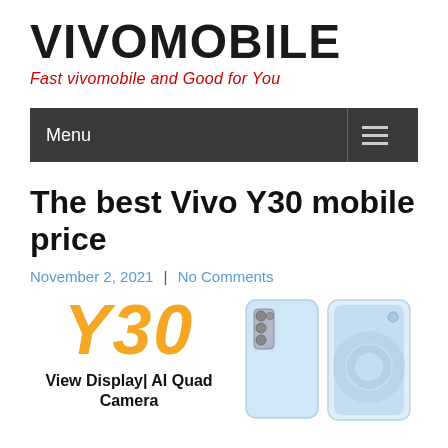VIVOMOBILE
Fast vivomobile and Good for You
Menu
The best Vivo Y30 mobile price
November 2, 2021 | No Comments
[Figure (photo): Vivo Y30 product promotional image showing the Y30 logo in orange italic text, tagline 'View Display | AI Quad Camera', and a photo of the Vivo Y30 smartphone showing front and back views in light blue/white color.]